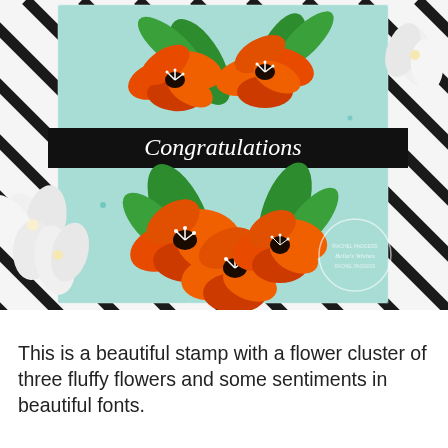[Figure (photo): A handmade congratulations card with orange floral stamp artwork on a light teal background. The card features a cluster of three large orange fluffy flowers with green leaves, split by a black banner reading 'Congratulations' in white cursive script. The card is photographed on a black-and-white diagonal striped background with white flowers in the lower left and upper right corners. A circular watermark stamp is visible in the lower right of the card.]
This is a beautiful stamp with a flower cluster of three fluffy flowers and some sentiments in beautiful fonts.